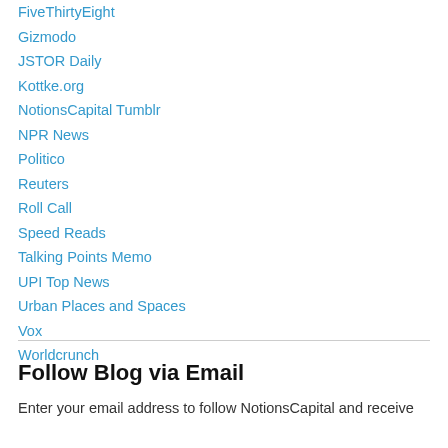FiveThirtyEight
Gizmodo
JSTOR Daily
Kottke.org
NotionsCapital Tumblr
NPR News
Politico
Reuters
Roll Call
Speed Reads
Talking Points Memo
UPI Top News
Urban Places and Spaces
Vox
Worldcrunch
Follow Blog via Email
Enter your email address to follow NotionsCapital and receive notifications of new posts by email.